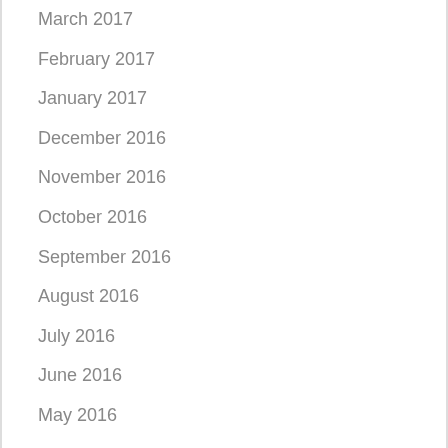March 2017
February 2017
January 2017
December 2016
November 2016
October 2016
September 2016
August 2016
July 2016
June 2016
May 2016
February 2016
January 2013
July 2012
February 2012